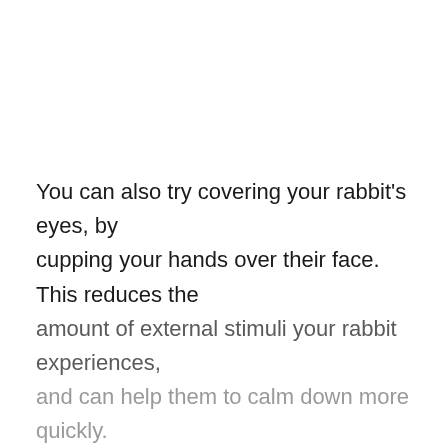You can also try covering your rabbit's eyes, by cupping your hands over their face. This reduces the amount of external stimuli your rabbit experiences, and can help them to calm down more quickly.